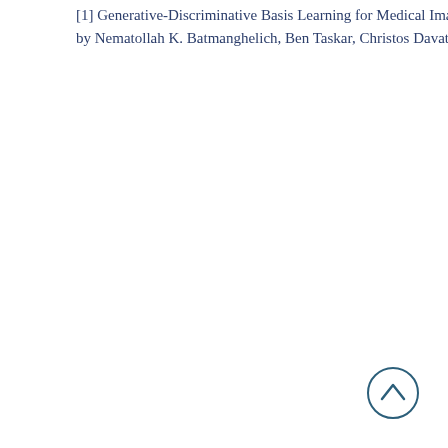[1] Generative-Discriminative Basis Learning for Medical Imag... by Nematollah K. Batmanghelich, Ben Taskar, Christos Davatzik...
[Figure (other): Back to top navigation button — a circle with an upward-pointing chevron arrow, rendered in dark teal/navy blue stroke on white background]